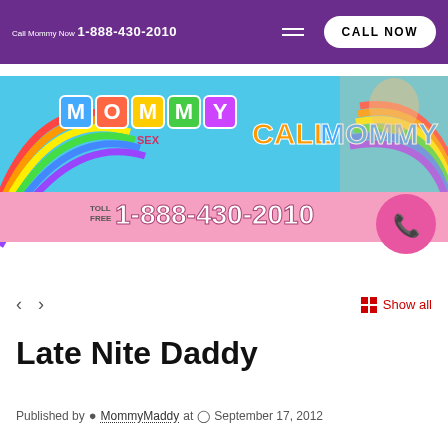Call Mommy Now 1-888-430-2010 | CALL NOW
[Figure (advertisement): Colorful advertisement banner for 'Mommy Sex' phone service. Features rainbow background, block letter logo, text 'CALL MOMMY', toll free number 1-888-430-2010, a blonde woman, and a pink phone button icon.]
‹  ›   Show all
Late Nite Daddy
Published by  MommyMaddy  at  September 17, 2012